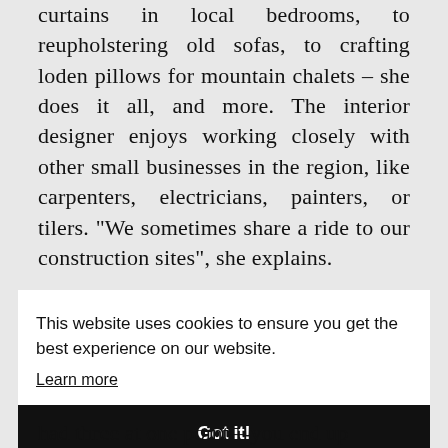curtains in local bedrooms, to reupholstering old sofas, to crafting loden pillows for mountain chalets – she does it all, and more. The interior designer enjoys working closely with other small businesses in the region, like carpenters, electricians, painters, or tilers. "We sometimes share a ride to our construction sites", she explains.
This website uses cookies to ensure you get the best experience on our website.
Learn more
Got it!
had three at one point – you end up